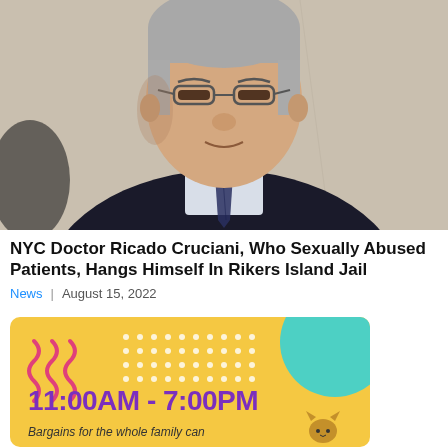[Figure (photo): Portrait photo of a middle-aged man with grey hair and glasses wearing a dark suit and tie, seated against a light beige wall]
NYC Doctor Ricado Cruciani, Who Sexually Abused Patients, Hangs Himself In Rikers Island Jail
News  |  August 15, 2022
[Figure (advertisement): Yellow advertisement banner with teal circle, pink squiggles, white dots pattern, purple bold text reading '11:00AM - 7:00PM', and tagline 'Bargains for the whole family can']